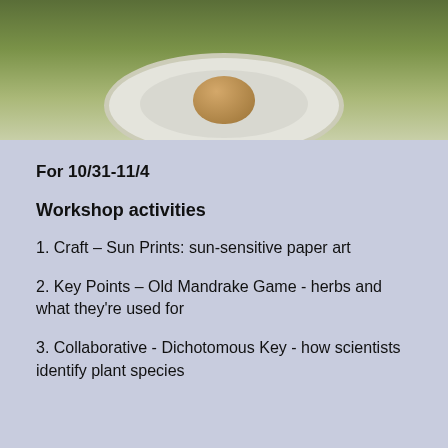[Figure (photo): Photo of a plate with food item on a green table surface, partially cropped at top]
For 10/31-11/4
Workshop activities
1. Craft – Sun Prints: sun-sensitive paper art
2. Key Points – Old Mandrake Game - herbs and what they're used for
3. Collaborative - Dichotomous Key - how scientists identify plant species